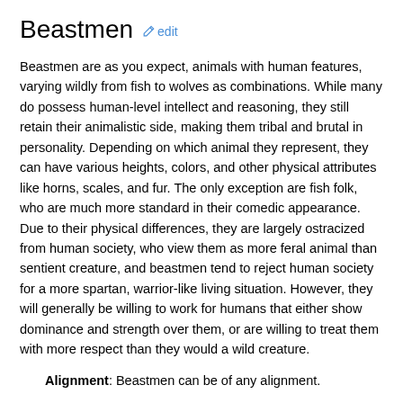Beastmen  edit
Beastmen are as you expect, animals with human features, varying wildly from fish to wolves as combinations. While many do possess human-level intellect and reasoning, they still retain their animalistic side, making them tribal and brutal in personality. Depending on which animal they represent, they can have various heights, colors, and other physical attributes like horns, scales, and fur. The only exception are fish folk, who are much more standard in their comedic appearance. Due to their physical differences, they are largely ostracized from human society, who view them as more feral animal than sentient creature, and beastmen tend to reject human society for a more spartan, warrior-like living situation. However, they will generally be willing to work for humans that either show dominance and strength over them, or are willing to treat them with more respect than they would a wild creature.
Alignment: Beastmen can be of any alignment.